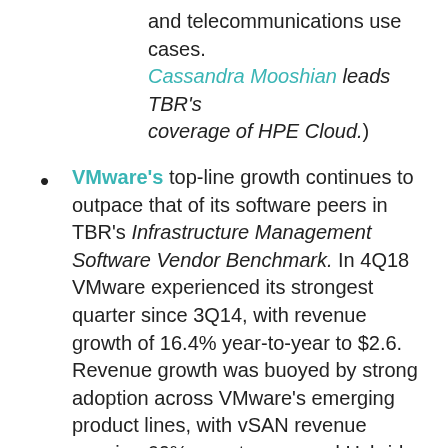and telecommunications use cases. (Cassandra Mooshian leads TBR's coverage of HPE Cloud.)
VMware's top-line growth continues to outpace that of its software peers in TBR's Infrastructure Management Software Vendor Benchmark. In 4Q18 VMware experienced its strongest quarter since 3Q14, with revenue growth of 16.4% year-to-year to $2.6. Revenue growth was buoyed by strong adoption across VMware's emerging product lines, with vSAN revenue growing 60% year-to-year and Hybrid Cloud and SaaS revenue growing 35% in the same time period. Further, the company is successfully packaging solutions around hybrid